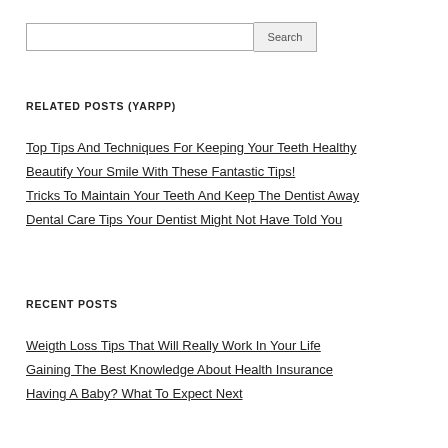Search [input field]
RELATED POSTS (YARPP)
Top Tips And Techniques For Keeping Your Teeth Healthy
Beautify Your Smile With These Fantastic Tips!
Tricks To Maintain Your Teeth And Keep The Dentist Away
Dental Care Tips Your Dentist Might Not Have Told You
RECENT POSTS
Weigth Loss Tips That Will Really Work In Your Life
Gaining The Best Knowledge About Health Insurance
Having A Baby? What To Expect Next